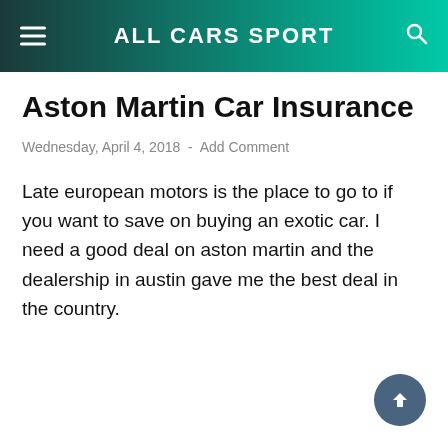ALL CARS SPORT
Aston Martin Car Insurance
Wednesday, April 4, 2018  -  Add Comment
Late european motors is the place to go to if you want to save on buying an exotic car. I need a good deal on aston martin and the dealership in austin gave me the best deal in the country.